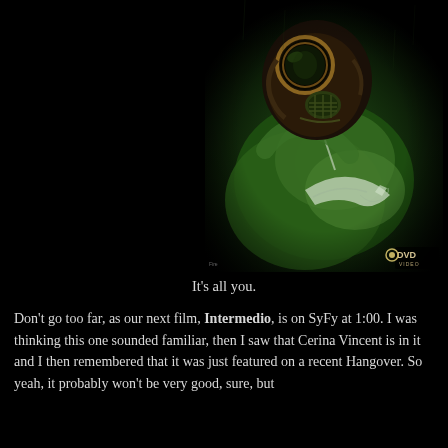[Figure (photo): Dark promotional image for the movie Intermedio: a woman in a lace bra with green-tinted skin wearing a gas mask, dramatic dark atmospheric lighting. DVD Video logo in bottom right corner.]
It's all you.
Don't go too far, as our next film, Intermedio, is on SyFy at 1:00. I was thinking this one sounded familiar, then I saw that Cerina Vincent is in it and I then remembered that it was just featured on a recent Hangover. So yeah, it probably won't be very good, sure, but